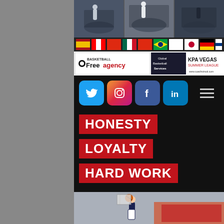[Figure (photo): Banner with three basketball action photos side by side showing players in game situations]
[Figure (infographic): Row of country flags: Spain, Canada, China, Mexico, Hong Kong, Brazil, Cyprus, Japan, Germany, Finland]
[Figure (infographic): Sponsor banner row with Basketball Free Agency logo, Global Basketball Services, and KPA Vegas Summer League logos with website URLs]
[Figure (infographic): Social media icons row: Twitter (blue bird), Instagram (gradient), Facebook (blue f), LinkedIn (blue in), and hamburger menu icon]
HONESTY
LOYALTY
HARD WORK
[Figure (photo): Basketball player dunking in an indoor gymnasium with spectators visible in red seats, court sponsor banners visible]